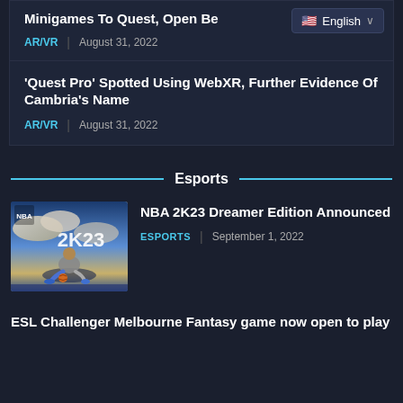Minigames To Quest, Open Be…
AR/VR | August 31, 2022
'Quest Pro' Spotted Using WebXR, Further Evidence Of Cambria's Name
AR/VR | August 31, 2022
Esports
[Figure (photo): NBA 2K23 game cover art showing a basketball player sitting on a court with clouds in background]
NBA 2K23 Dreamer Edition Announced
ESPORTS | September 1, 2022
ESL Challenger Melbourne Fantasy game now open to play